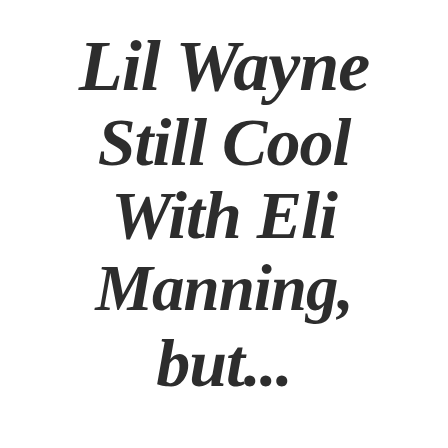Lil Wayne Still Cool With Eli Manning, but...
© Something & Nothing Productions